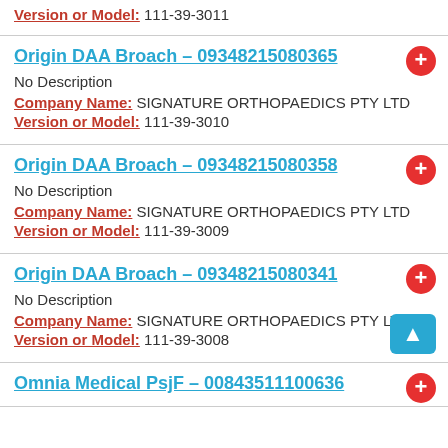Version or Model: 111-39-3011
Origin DAA Broach - 09348215080365
No Description
Company Name: SIGNATURE ORTHOPAEDICS PTY LTD
Version or Model: 111-39-3010
Origin DAA Broach - 09348215080358
No Description
Company Name: SIGNATURE ORTHOPAEDICS PTY LTD
Version or Model: 111-39-3009
Origin DAA Broach - 09348215080341
No Description
Company Name: SIGNATURE ORTHOPAEDICS PTY LTD
Version or Model: 111-39-3008
Omnia Medical PsjF - 00843511100636